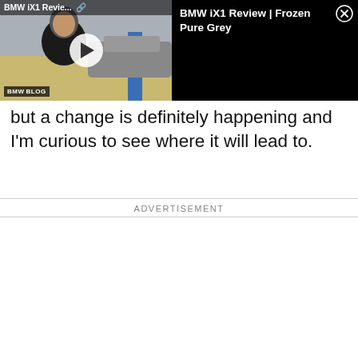[Figure (screenshot): BMW iX1 Review | Frozen Pure Grey video thumbnail showing a man outdoors with BMW cars, with a white play button circle overlay and BMWBLOG badge in the bottom left. Alongside is a black panel with the video title 'BMW iX1 Review | Frozen Pure Grey' in white text and a close (X) button in the top right corner.]
but a change is definitely happening and I'm curious to see where it will lead to.
ADVERTISEMENT